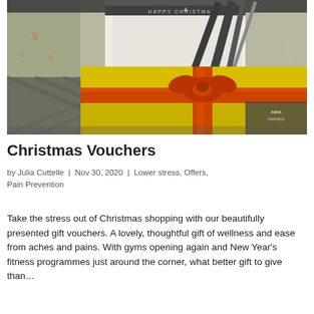[Figure (photo): Christmas gift vouchers and a yellow gift box with an orange ribbon, surrounded by decorative wrapping paper with reindeer and dark ribbon with 'Happy Christmas' text.]
Christmas Vouchers
by Julia Cuttelle | Nov 30, 2020 | Lower stress, Offers, Pain Prevention
Take the stress out of Christmas shopping with our beautifully presented gift vouchers. A lovely, thoughtful gift of wellness and ease from aches and pains. With gyms opening again and New Year's fitness programmes just around the corner, what better gift to give than…